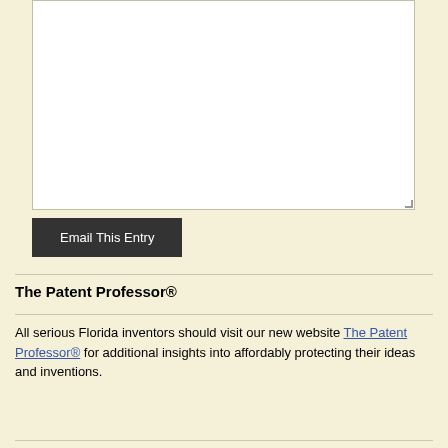[Figure (screenshot): A white textarea input box with resize handle in bottom-right corner, representing a form field on a webpage with light cream background]
[Figure (screenshot): A dark gray button labeled 'Email This Entry']
The Patent Professor®
All serious Florida inventors should visit our new website The Patent Professor® for additional insights into affordably protecting their ideas and inventions.